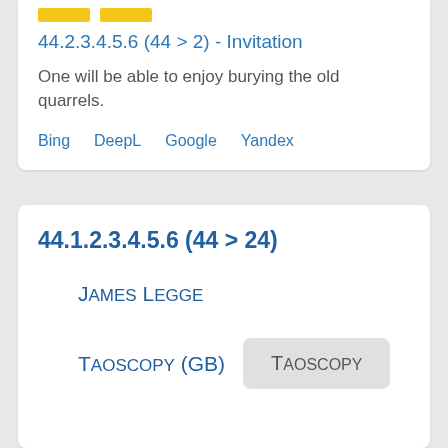[Figure (other): Two yellow tag/label rectangles at top of card]
44.2.3.4.5.6 (44 > 2) - Invitation
One will be able to enjoy burying the old quarrels.
Bing   DeepL   Google   Yandex
44.1.2.3.4.5.6 (44 > 24)
James Legge
Taoscopy (GB)
Taoscopy